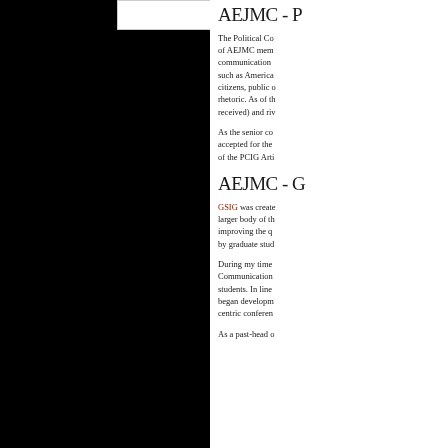AEJMC - P
The Political Communication Interest Group (PCIG) consists of AEJMC members interested in the role of political communication in democratic processes, examining topics such as American elections, political behavior of citizens, public opinion formation, and political rhetoric. As of the latest election, papers accepted (received) and rive...
As the senior co... accepted for the... of the PCIG Arti...
AEJMC - G
GSIG was created... larger body of th... improving the q... by graduate stud...
During my time... Communication... students. In line... began developm... centric conferen...
As a past-head o...